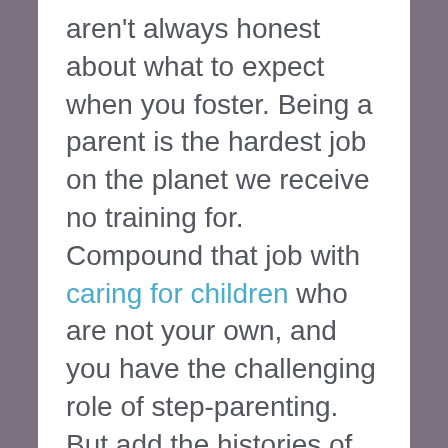aren't always honest about what to expect when you foster. Being a parent is the hardest job on the planet we receive no training for. Compound that job with caring for children who are not your own, and you have the challenging role of step-parenting. But add the histories of abuse and resulting challenging behaviors, along with the county holding legal guardianship of the child, and your job has job gotten exponentially more difficult. But most